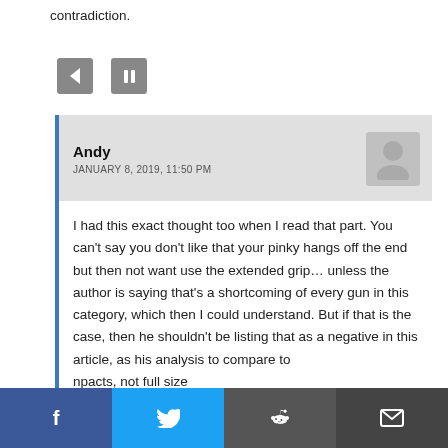contradiction.
[Figure (other): Navigation buttons: back arrow and pause/stop button]
Andy
JANUARY 8, 2019, 11:50 PM
I had this exact thought too when I read that part. You can't say you don't like that your pinky hangs off the end but then not want use the extended grip… unless the author is saying that's a shortcoming of every gun in this category, which then I could understand. But if that is the case, then he shouldn't be listing that as a negative in this article, as his analysis to compare to npacts, not full size
[Figure (other): Social share bar with Facebook, Twitter, Reddit, and email buttons]